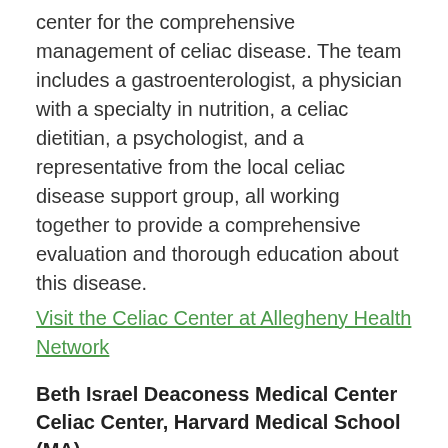center for the comprehensive management of celiac disease. The team includes a gastroenterologist, a physician with a specialty in nutrition, a celiac dietitian, a psychologist, and a representative from the local celiac disease support group, all working together to provide a comprehensive evaluation and thorough education about this disease.
Visit the Celiac Center at Allegheny Health Network
Beth Israel Deaconess Medical Center Celiac Center, Harvard Medical School (MA)
Patients benefit from direct access to state-of-the-art knowledge on the latest advances in celiac disease research through the Celiac Center's leading researchers, with a focus on